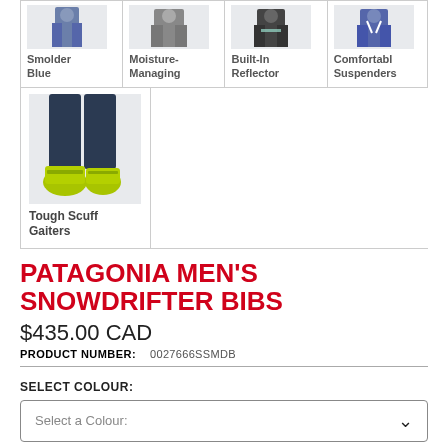[Figure (photo): Four feature icons/photos in a grid: Smolder Blue (person in blue outfit), Moisture-Managing (person in jacket), Built-In Reflector (person in dark jacket), Comfortable Suspenders (person in bib)]
[Figure (photo): Feature photo showing legs wearing dark bibs with yellow/green ski boots - Tough Scuff Gaiters]
PATAGONIA MEN'S SNOWDRIFTER BIBS
$435.00 CAD
PRODUCT NUMBER: 0027666SSMDB
SELECT COLOUR:
Select a Colour:
SELECT SIZE: